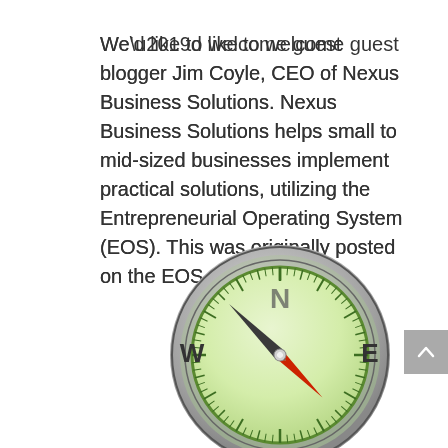We’d like to welcome guest blogger Jim Coyle, CEO of Nexus Business Solutions. Nexus Business Solutions helps small to mid-sized businesses implement practical solutions, utilizing the Entrepreneurial Operating System (EOS). This was originally posted on the EOS…
[Figure (illustration): A compass illustration showing a circular compass with a silver/grey metallic outer ring, a green face with tick marks around the perimeter, the letter N at the top, W on the left, E on the right, and a needle pointing northwest (dark grey/black) with a red tail pointing southeast.]